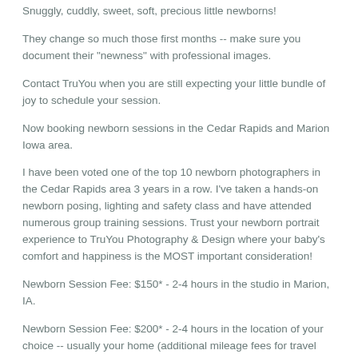Snuggly, cuddly, sweet, soft, precious little newborns!
They change so much those first months -- make sure you document their "newness" with professional images.
Contact TruYou when you are still expecting your little bundle of joy to schedule your session.
Now booking newborn sessions in the Cedar Rapids and Marion Iowa area.
I have been voted one of the top 10 newborn photographers in the Cedar Rapids area 3 years in a row. I've taken a hands-on newborn posing, lighting and safety class and have attended numerous group training sessions. Trust your newborn portrait experience to TruYou Photography & Design where your baby's comfort and happiness is the MOST important consideration!
Newborn Session Fee: $150* - 2-4 hours in the studio in Marion, IA.
Newborn Session Fee: $200* - 2-4 hours in the location of your choice -- usually your home (additional mileage fees for travel